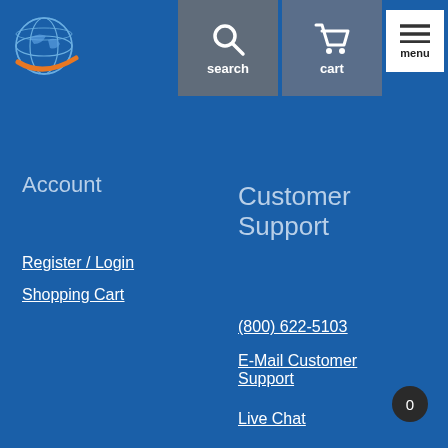[Figure (logo): Globe logo with orange swoosh]
search
cart
menu
Account
Customer Support
Register / Login
Shopping Cart
(800) 622-5103
E-Mail Customer Support
Live Chat